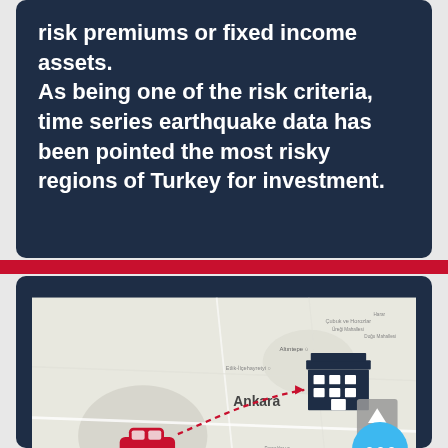risk premiums or fixed income assets.

As being one of the risk criteria, time series earthquake data has been pointed the most risky regions of Turkey for investment.
[Figure (map): Map showing Ankara region with a red car icon on the left connected by a dotted red arrow path to a building/house icon on the right, with 'Ankara' labeled in the center of the map.]
MANAGE THE SALES FORCE